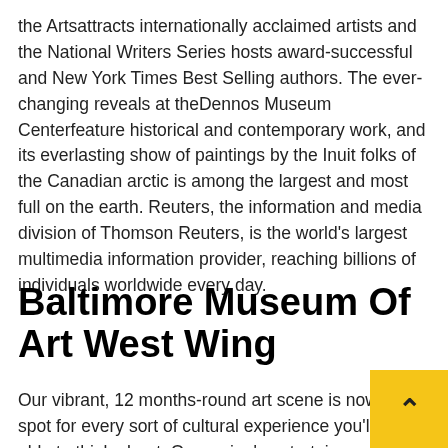the Artsattracts internationally acclaimed artists and the National Writers Series hosts award-successful and New York Times Best Selling authors. The ever-changing reveals at theDennos Museum Centerfeature historical and contemporary work, and its everlasting show of paintings by the Inuit folks of the Canadian arctic is among the largest and most full on the earth. Reuters, the information and media division of Thomson Reuters, is the world's largest multimedia information provider, reaching billions of individuals worldwide every day.
Baltimore Museum Of Art West Wing
Our vibrant, 12 months-round art scene is now a hot-spot for every sort of cultural experience you'll be able to think about. Our region's entertainment scene is understood its professional excellence in theater, music, as well Entertainment as for its nationally-acknowledged artists and famend galleries. When in Wichita, do as Wichitans